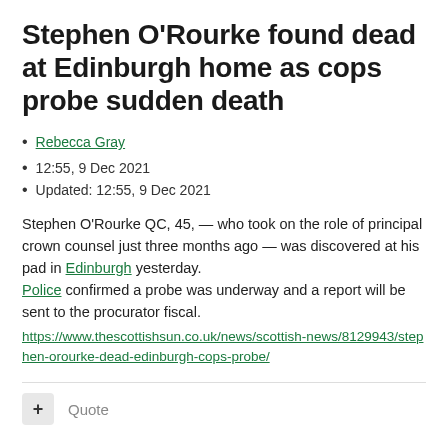Stephen O'Rourke found dead at Edinburgh home as cops probe sudden death
Rebecca Gray
12:55, 9 Dec 2021
Updated: 12:55, 9 Dec 2021
Stephen O'Rourke QC, 45, — who took on the role of principal crown counsel just three months ago — was discovered at his pad in Edinburgh yesterday. Police confirmed a probe was underway and a report will be sent to the procurator fiscal. https://www.thescottishsun.co.uk/news/scottish-news/8129943/stephen-orourke-dead-edinburgh-cops-probe/
+ Quote